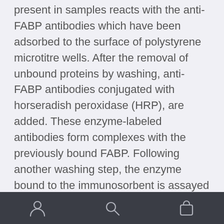present in samples reacts with the anti-FABP antibodies which have been adsorbed to the surface of polystyrene microtitre wells. After the removal of unbound proteins by washing, anti-FABP antibodies conjugated with horseradish peroxidase (HRP), are added. These enzyme-labeled antibodies form complexes with the previously bound FABP. Following another washing step, the enzyme bound to the immunosorbent is assayed by the addition of a chromogenic substrate, 3,3',5,5'-tetramethylbenzidine (TMB). The quantity of bound enzyme varies directly with the concentration of FABP in the sample tested; thus, the absorbance, at 450 nm, is a measure of the concentration of FABP. The quantity of Liver Fatty
[nav bar with user, search, and bag icons]